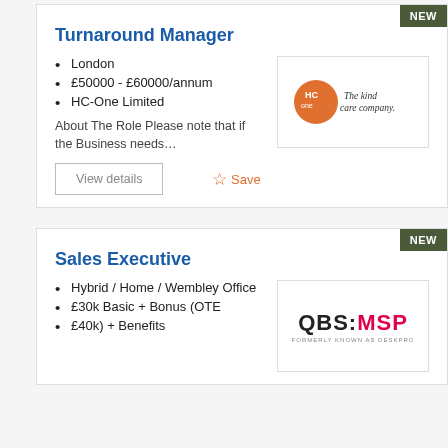Turnaround Manager
London
£50000 - £60000/annum
HC-One Limited
About The Role Please note that if the Business needs…
[Figure (logo): HC-One 'The kind care company' logo with orange circle]
Sales Executive
Hybrid / Home / Wembley Office
£30k Basic + Bonus (OTE
£40k) + Benefits
[Figure (logo): QBS:MSP logo with QBS in black and MSP in red/pink]